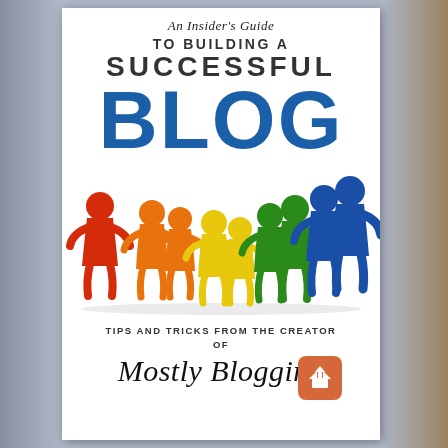An Insider's Guide to Building a Successful Blog
[Figure (illustration): Row of colorful meeple/pawn figures in rainbow order: red, orange, yellow, green, blue, arranged in a diagonal line increasing in number]
Tips and Tricks from the Creator of
Mostly Blogging